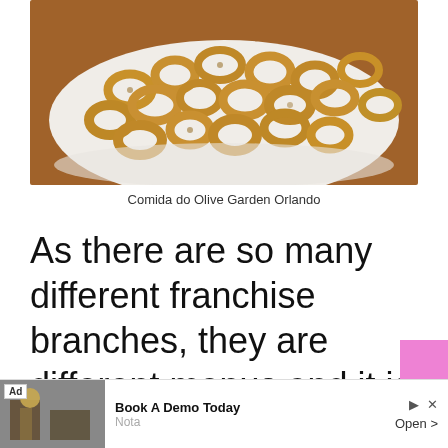[Figure (photo): A white plate/bowl filled with golden-brown fried calamari rings, placed on a wooden surface.]
Comida do Olive Garden Orlando
As there are so many different franchise branches, they are different menus and it is hard to say for sure what you will find in each place.
[Figure (screenshot): Ad banner: Book A Demo Today. Nota. Open >]